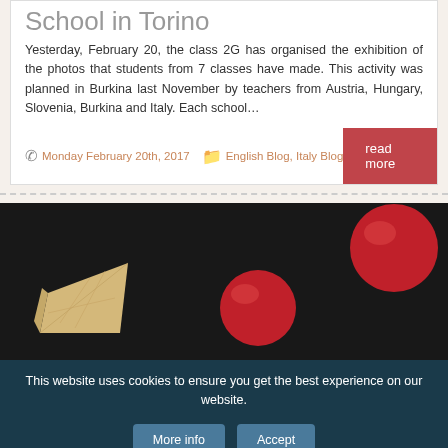School in Torino
Yesterday, February 20, the class 2G has organised the exhibition of the photos that students from 7 classes have made. This activity was planned in Burkina last November by teachers from Austria, Hungary, Slovenia, Burkina and Italy. Each school…
Monday February 20th, 2017   English Blog, Italy Blog
read more
[Figure (photo): Dark background with a wedge of cheese on the left and two round red objects (possibly wax-coated cheese) in the center and upper right]
This website uses cookies to ensure you get the best experience on our website.
More info   Accept